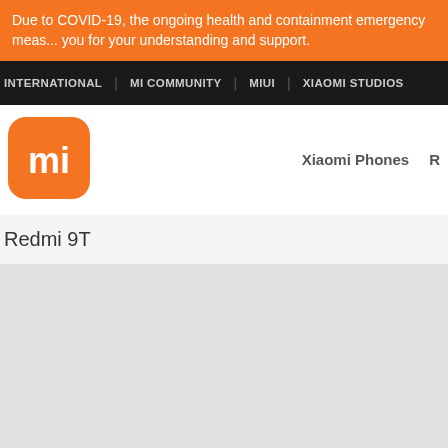Due to COVID-19, the ongoing health and containment emergency meas... you for your understanding and support.
INTERNATIONAL | MI COMMUNITY | MIUI | XIAOMI STUDIOS
[Figure (logo): Xiaomi MI logo - orange rounded square with white MI icon]
Xiaomi Phones  R
Redmi 9T